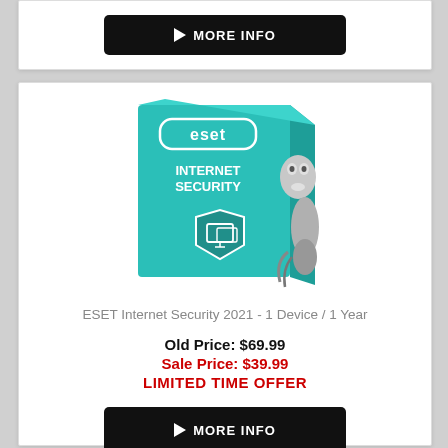[Figure (other): Black MORE INFO button with play arrow icon, partially visible at top of page]
[Figure (photo): ESET Internet Security 2021 product box showing teal/cyan packaging with robot face, shield icon, and text ESET INTERNET SECURITY]
ESET Internet Security 2021 - 1 Device / 1 Year
Old Price: $69.99
Sale Price: $39.99
LIMITED TIME OFFER
[Figure (other): Black MORE INFO button with play arrow icon]